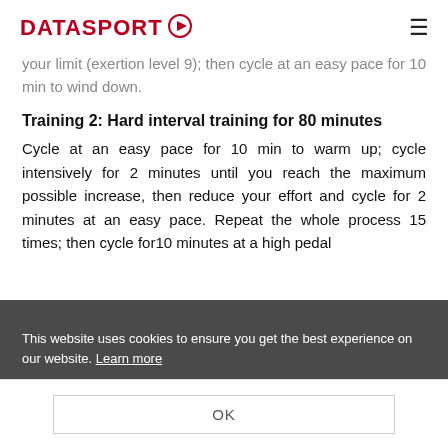DATASPORT
your limit (exertion level 9); then cycle at an easy pace for 10 min to wind down.
Training 2: Hard interval training for 80 minutes
Cycle at an easy pace for 10 min to warm up; cycle intensively for 2 minutes until you reach the maximum possible increase, then reduce your effort and cycle for 2 minutes at an easy pace. Repeat the whole process 15 times; then cycle for10 minutes at a high pedal
This website uses cookies to ensure you get the best experience on our website. Learn more
OK
On your free days, regularly plan three to five-hour trips